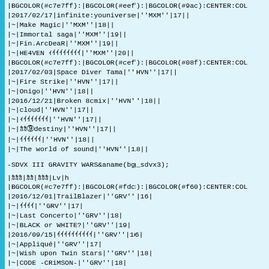|BGCOLOR(#c7e7ff):|BGCOLOR(#eef):|BGCOLOR(#9ac):CENTER:COL...
|2017/02/17|infinite:youniverse|''MXM''|17||
|~|Make Magic|''MXM''|18||
|~|Immortal saga|''MXM''|19||
|~|Fin.ArcDeaR|''MXM''|19||
|~|HE4VEN ｨｲｲｲｲｲｲｲｲ|''MXM''|20||
|BGCOLOR(#c7e7ff):|BGCOLOR(#cef):|BGCOLOR(#08f):CENTER:COL...
|2017/02/03|Space Diver Tama|''HVN''|17||
|~|Fire Strike|''HVN''|17||
|~|Onigo|''HVN''|18||
|2016/12/21|Broken 8cmix|''HVN''|18||
|~|cloud|''HVN''|17||
|~|ｨｲｲｲｲｲｲｲ|''HVN''|17||
|~|ｶｶ&#9320;destiny|''HVN''|17||
|~|ｲｲｲｲｲｲ|''HVN''|18||
|~|The world of sound|''HVN''|18||
-SDVX III GRAVITY WARS&aname(bg_sdvx3);
|ｶｶｶ|ｶｶ|ｶｶｶ|Lv|h
|BGCOLOR(#c7e7ff):|BGCOLOR(#fdc):|BGCOLOR(#f60):CENTER:COL...
|2016/12/01|TrailBlazer|''GRV''|16|
|~|ｲｲｲｲ|''GRV''|17|
|~|Last Concerto|''GRV''|18|
|~|BLACK or WHITE?|''GRV''|19|
|2016/09/15|ｲｲｲｲｲｲｲｲｲｲ|''GRV''|16|
|~|Appliqu&#233;|''GRV''|17|
|~|Wish upon Twin Stars|''GRV''|18|
|~|CODE -CRiMSON-|''GRV''|18|
|~|Growth Memories|''GRV''|19|